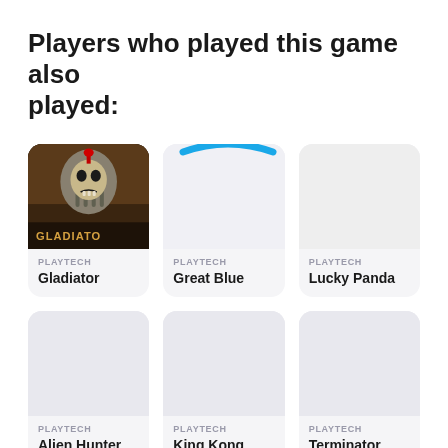Players who played this game also played:
[Figure (screenshot): Gladiator slot game thumbnail with gladiator helmet graphic and text GLADIATOR]
PLAYTECH
Gladiator
[Figure (screenshot): Great Blue slot game thumbnail, mostly white with a blue arc at top]
PLAYTECH
Great Blue
[Figure (screenshot): Lucky Panda slot game thumbnail, white/grey]
PLAYTECH
Lucky Panda
[Figure (screenshot): Alien Hunter slot game thumbnail, grey]
PLAYTECH
Alien Hunter
[Figure (screenshot): King Kong slot game thumbnail, grey]
PLAYTECH
King Kong
[Figure (screenshot): Terminator Genisys slot game thumbnail, grey]
PLAYTECH
Terminator Genisys